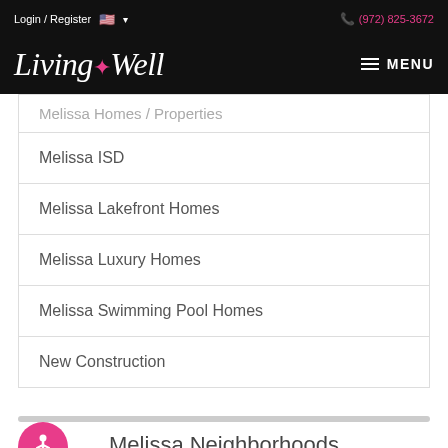Login / Register  🇺🇸 ▾       (972) 825-3672
Living Well — MENU
Melissa Homes / Properties (truncated)
Melissa ISD
Melissa Lakefront Homes
Melissa Luxury Homes
Melissa Swimming Pool Homes
New Construction
Melissa Neighborhoods